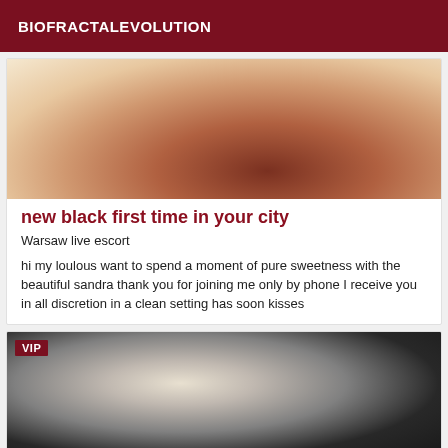BIOFRACTALEVOLUTION
[Figure (photo): Cropped photo showing a person's lower body in black underwear, warm-toned skin]
new black first time in your city
Warsaw live escort
hi my loulous want to spend a moment of pure sweetness with the beautiful sandra thank you for joining me only by phone I receive you in all discretion in a clean setting has soon kisses
[Figure (photo): Partial photo of a person wearing dark clothing, VIP badge in upper left corner]